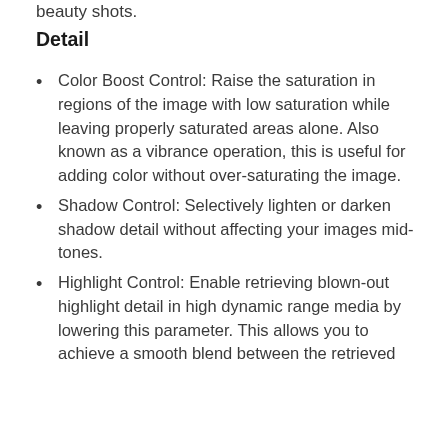beauty shots.
Detail
Color Boost Control: Raise the saturation in regions of the image with low saturation while leaving properly saturated areas alone. Also known as a vibrance operation, this is useful for adding color without over-saturating the image.
Shadow Control: Selectively lighten or darken shadow detail without affecting your images mid-tones.
Highlight Control: Enable retrieving blown-out highlight detail in high dynamic range media by lowering this parameter. This allows you to achieve a smooth blend between the retrieved